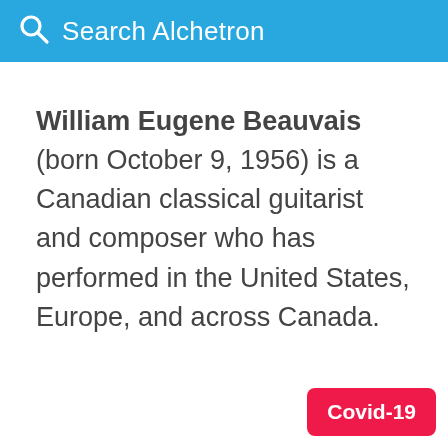Search Alchetron
William Eugene Beauvais (born October 9, 1956) is a Canadian classical guitarist and composer who has performed in the United States, Europe, and across Canada.
Covid-19